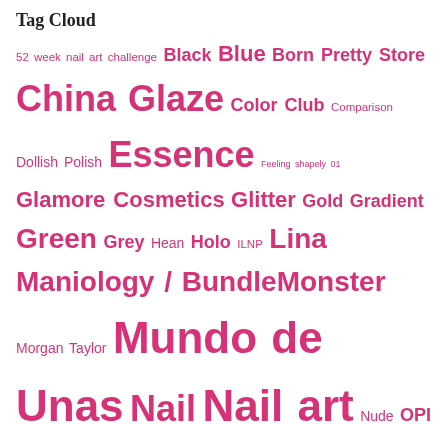Tag Cloud
52 week nail art challenge Black Blue Born Pretty Store China Glaze Color Club Comparison Dollish Polish Essence Feeling shapely 01 Glamore Cosmetics Glitter Gold Gradient Green Grey Hean Holo ILNP Lina Maniology / BundleMonster Morgan Taylor Mundo de Unas Nail Nail art Nude OPI Orange Pink Polish polka dots Pueen Purple Red Reverse stamping Silver Sinful Colors Stamping Swatches Taped Tip Top Tuesday Stamping Vinyls White Yellow